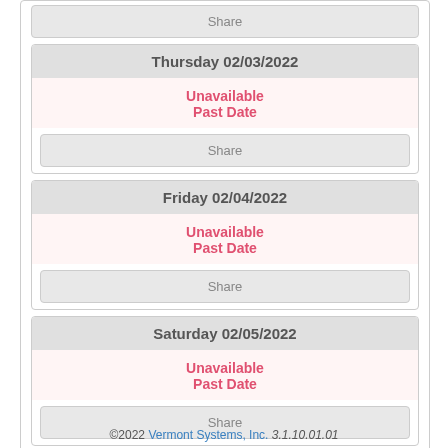Share
Thursday 02/03/2022
Unavailable
Past Date
Share
Friday 02/04/2022
Unavailable
Past Date
Share
Saturday 02/05/2022
Unavailable
Past Date
Share
©2022 Vermont Systems, Inc. 3.1.10.01.01